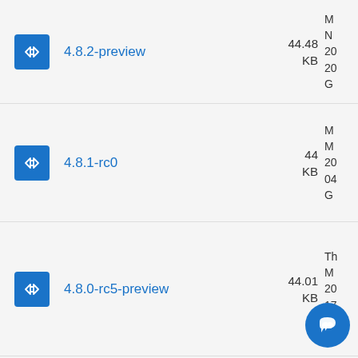4.8.2-preview  44.48 KB
4.8.1-rc0  44 KB
4.8.0-rc5-preview  44.01 KB